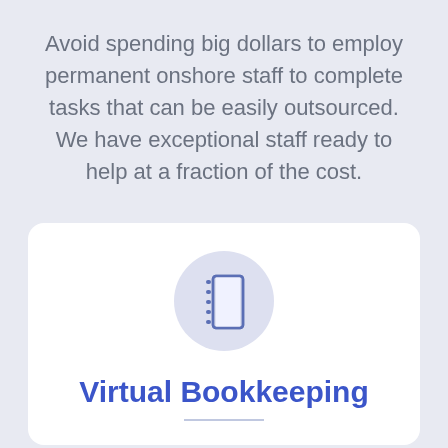Avoid spending big dollars to employ permanent onshore staff to complete tasks that can be easily outsourced. We have exceptional staff ready to help at a fraction of the cost.
[Figure (illustration): Notebook/ledger icon inside a light purple circle, representing bookkeeping.]
Virtual Bookkeeping